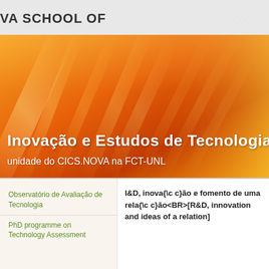VA SCHOOL OF
[Figure (illustration): Orange abstract background banner with diagonal light streaks and gradient from yellow-orange to dark orange-red]
Inovação e Estudos de Tecnologia
unidade do CICS.NOVA na FCT-UNL
Observatório de Avaliação de Tecnologia
PhD programme on Technology Assessment
I&D, inova{\c c}ão e fomento de uma rela{\c c}ão<BR>[R&D, innovation and ideas of a relation]